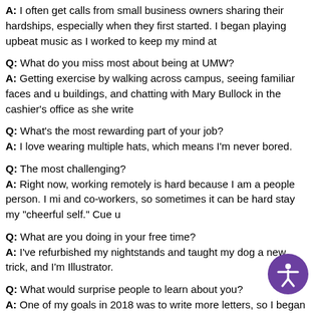A: I often get calls from small business owners sharing their hardships, especially when they first started. I began playing upbeat music as I worked to keep my mind at
Q: What do you miss most about being at UMW?
A: Getting exercise by walking across campus, seeing familiar faces and unique buildings, and chatting with Mary Bullock in the cashier’s office as she write
Q: What’s the most rewarding part of your job?
A: I love wearing multiple hats, which means I’m never bored.
Q: The most challenging?
A: Right now, working remotely is hard because I am a people person. I mi and co-workers, so sometimes it can be hard stay my “cheerful self.” Cue u
Q: What are you doing in your free time?
A: I’ve refurbished my nightstands and taught my dog a new trick, and I’m Illustrator.
Q: What would surprise people to learn about you?
A: One of my goals in 2018 was to write more letters, so I began writing to she texted me back instead, but we ended up writing to each other for a ye
Q: What’s your motto?
A: “I wish there was a way to know you’re in the good old days before you’
Office, Season 8, Episode 22